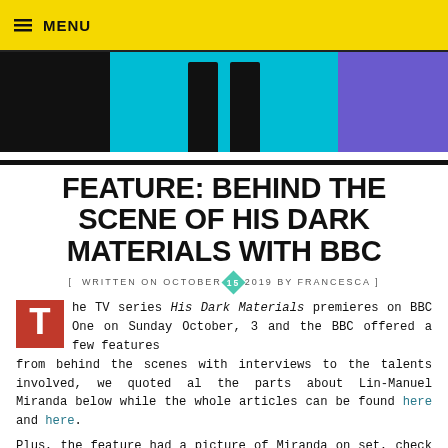≡ MENU
[Figure (photo): Photo strip with three panels: dark left panel, cyan/teal center panel showing legs in black pants from the knees down, and purple right panel]
FEATURE: BEHIND THE SCENE OF HIS DARK MATERIALS WITH BBC
[ WRITTEN ON OCTOBER 15 2019 BY FRANCESCA ]
The TV series His Dark Materials premieres on BBC One on Sunday October, 3 and the BBC offered a few features from behind the scenes with interviews to the talents involved, we quoted al the parts about Lin-Manuel Miranda below while the whole articles can be found here and here.
Plus, the feature had a picture of Miranda on set, check it